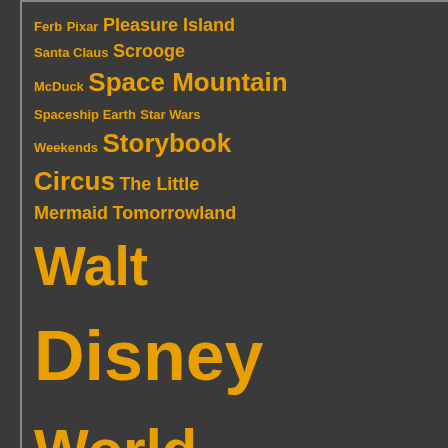Ferb Pixar Pleasure Island Santa Claus Scrooge McDuck Space Mountain Spaceship Earth Star Wars Weekends Storybook Circus The Little Mermaid Tomorrowland Walt Disney World World Showcase
ansionGhosts&B